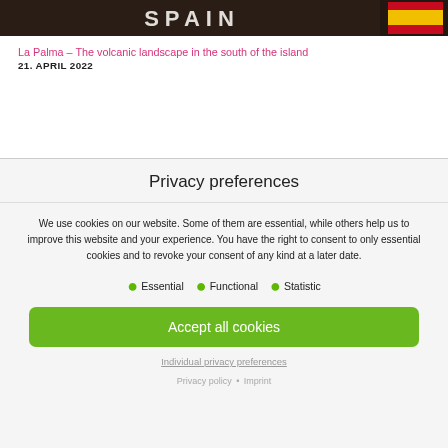[Figure (photo): Header image showing volcanic landscape in dark tones with text 'SPAIN' and a Spanish flag icon]
La Palma – The volcanic landscape in the south of the island
21. APRIL 2022
Privacy preferences
We use cookies on our website. Some of them are essential, while others help us to improve this website and your experience. You have the right to consent to only essential cookies and to revoke your consent of any kind at a later date.
Essential
Functional
Statistic
Accept all cookies
Individual privacy preferences
Privacy policy • Imprint